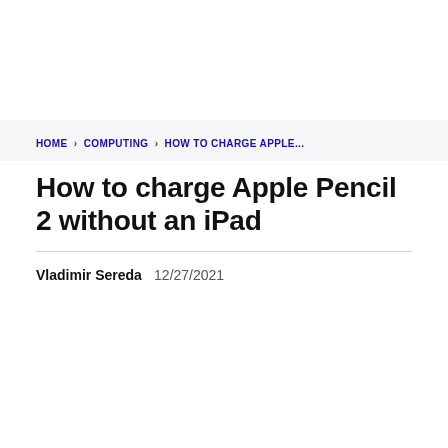HOME › COMPUTING › HOW TO CHARGE APPLE...
How to charge Apple Pencil 2 without an iPad
Vladimir Sereda  12/27/2021